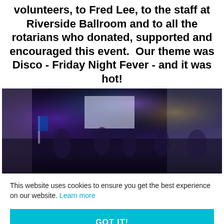volunteers, to Fred Lee, to the staff at Riverside Ballroom and to all the rotarians who donated, supported and encouraged this event.  Our theme was Disco - Friday Night Fever - and it was hot!
[Figure (photo): Interior of a banquet hall with purple and blue disco lighting, people mingling and sitting at tables, a projection screen visible in the background.]
This website uses cookies to ensure you get the best experience on our website. Learn more
GOT IT!